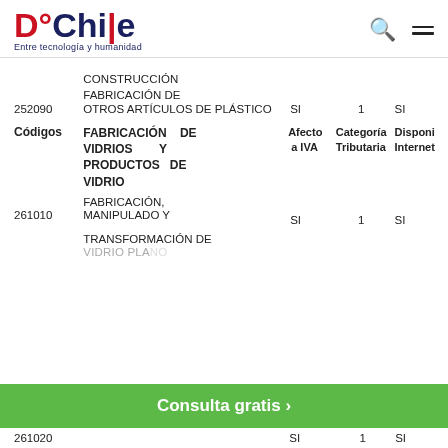DChile - Entre tecnología y humanidad
| Códigos | FABRICACIÓN DE VIDRIOS Y PRODUCTOS DE VIDRIO | Afecto a IVA | Categoría Tributaria | Disponible Internet |
| --- | --- | --- | --- | --- |
|  | CONSTRUCCIÓN |  |  |  |
|  | FABRICACIÓN DE OTROS ARTÍCULOS DE PLÁSTICO |  |  |  |
| 252090 |  | SI | 1 | SI |
| Códigos | FABRICACIÓN DE VIDRIOS Y PRODUCTOS DE VIDRIO | Afecto a IVA | Categoría Tributaria | Disponible Internet |
|  | FABRICACIÓN, MANIPULADO Y TRANSFORMACIÓN DE VIDRIO PLANO |  |  |  |
| 261010 |  | SI | 1 | SI |
| 261020 |  | SI | 1 | SI |
Consulta gratis >